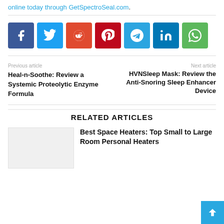online today through GetSpectroSeal.com.
[Figure (infographic): Social share buttons: Facebook, Twitter, Reddit, Pinterest, Telegram, LinkedIn, WhatsApp]
Previous article
Heal-n-Soothe: Review a Systemic Proteolytic Enzyme Formula
Next article
HVNSleep Mask: Review the Anti-Snoring Sleep Enhancer Device
RELATED ARTICLES
Best Space Heaters: Top Small to Large Room Personal Heaters